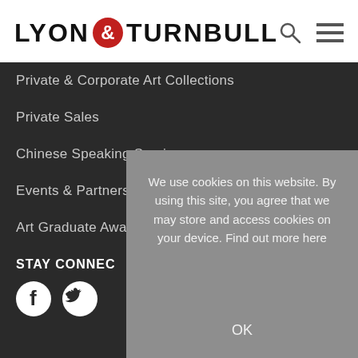[Figure (logo): Lyon & Turnbull logo with red circle ampersand]
Private & Corporate Art Collections
Private Sales
Chinese Speaking Service
Events & Partnerships
Art Graduate Award & Showcase
STAY CONNECTED
We use cookies on this website. By using this site, you agree that we may store and access cookies on your device. Find out more here
OK